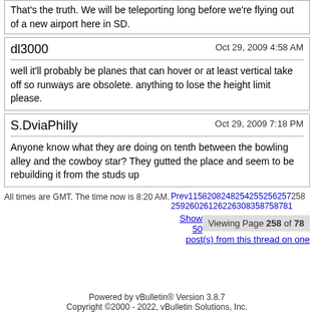That's the truth. We will be teleporting long before we're flying out of a new airport here in SD.
dl3000
Oct 29, 2009 4:58 AM
well it'll probably be planes that can hover or at least vertical take off so runways are obsolete. anything to lose the height limit please.
S.DviaPhilly
Oct 29, 2009 7:18 PM
Anyone know what they are doing on tenth between the bowling alley and the cowboy star? They gutted the place and seem to be rebuilding it from the studs up
All times are GMT. The time now is 8:20 AM.
Prev115820824825425525625725925926026126226830835875878...  Viewing Page 258 of 78... Show 50 post(s) from this thread on one page
Powered by vBulletin® Version 3.8.7
Copyright ©2000 - 2022, vBulletin Solutions, Inc.